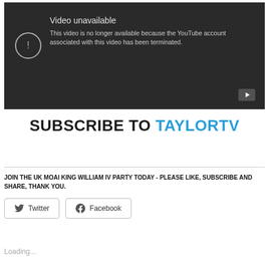[Figure (screenshot): YouTube 'Video unavailable' error screen on dark background. Text reads: 'Video unavailable. This video is no longer available because the YouTube account associated with this video has been terminated.' An exclamation mark icon is on the left. A YouTube play button icon is at bottom right.]
SUBSCRIBE TO TAYLORTV
JOIN THE UK MOAI KING WILLIAM IV PARTY TODAY - PLEASE LIKE, SUBSCRIBE AND SHARE, THANK YOU.
Twitter   Facebook
Loading...